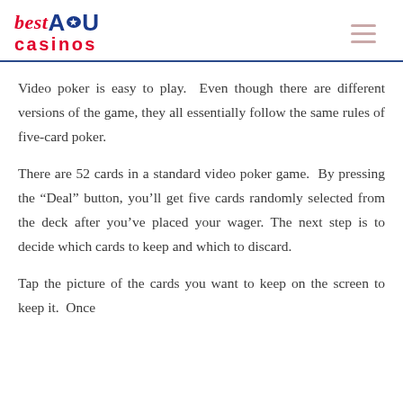best AU casinos
Video poker is easy to play. Even though there are different versions of the game, they all essentially follow the same rules of five-card poker.
There are 52 cards in a standard video poker game. By pressing the “Deal” button, you’ll get five cards randomly selected from the deck after you’ve placed your wager. The next step is to decide which cards to keep and which to discard.
Tap the picture of the cards you want to keep on the screen to keep it. Once